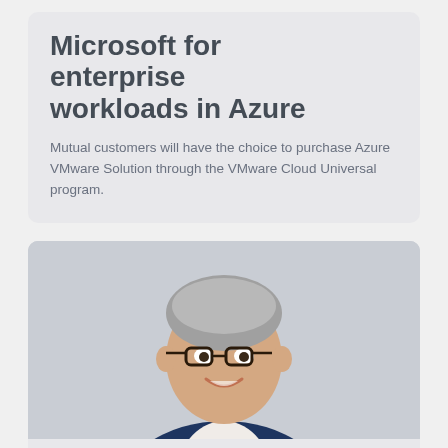Microsoft for enterprise workloads in Azure
Mutual customers will have the choice to purchase Azure VMware Solution through the VMware Cloud Universal program.
[Figure (photo): Professional headshot of a middle-aged man with grey hair wearing glasses and a navy blue suit jacket over a white shirt, smiling against a light grey background.]
DATA LAKE
How to keep your data lake initiative from becoming a